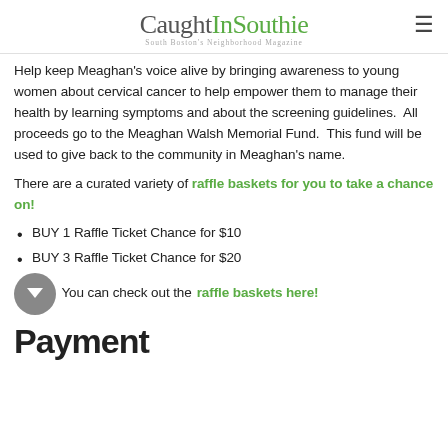CaughtInSouthie — South Boston's Neighborhood Magazine
Help keep Meaghan's voice alive by bringing awareness to young women about cervical cancer to help empower them to manage their health by learning symptoms and about the screening guidelines.  All proceeds go to the Meaghan Walsh Memorial Fund.  This fund will be used to give back to the community in Meaghan's name.
There are a curated variety of raffle baskets for you to take a chance on!
BUY 1 Raffle Ticket Chance for $10
BUY 3 Raffle Ticket Chance for $20
You can check out the raffle baskets here!
Payment